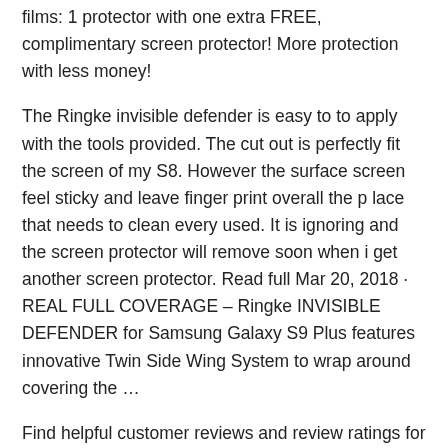films: 1 protector with one extra FREE, complimentary screen protector! More protection with less money!
The Ringke invisible defender is easy to to apply with the tools provided. The cut out is perfectly fit the screen of my S8. However the surface screen feel sticky and leave finger print overall the p lace that needs to clean every used. It is ignoring and the screen protector will remove soon when i get another screen protector. Read full Mar 20, 2018 · REAL FULL COVERAGE – Ringke INVISIBLE DEFENDER for Samsung Galaxy S9 Plus features innovative Twin Side Wing System to wrap around covering the …
Find helpful customer reviews and review ratings for Ringke Invisible Defender [3-Pack] Tempered Glass Screen Protector Compatible with Huawei P20 - Case Compatible Ultimate Clear Shield, High Definition Quality, 9H Hardness Technology